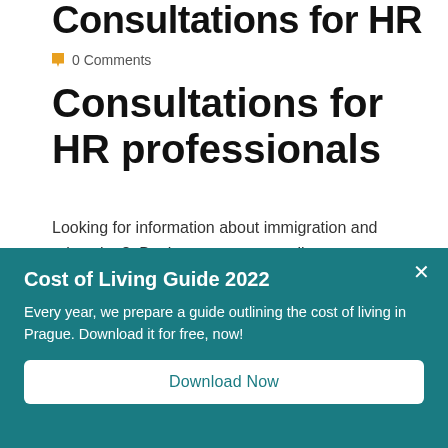Consultations for HR
0 Comments
Consultations for HR professionals
Looking for information about immigration and relocation?  Book a one-on-one online consultation with one of our immigration experts to discuss any
Cost of Living Guide 2022
Every year, we prepare a guide outlining the cost of living in Prague. Download it for free, now!
Download Now